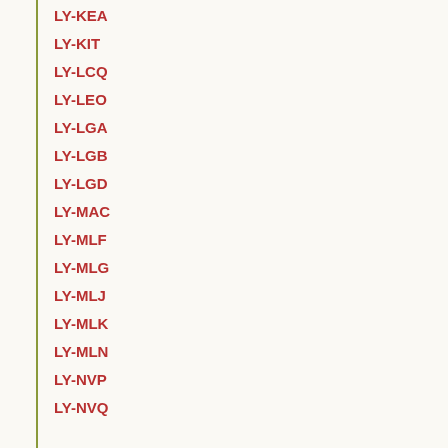LY-KEA
LY-KIT
LY-LCQ
LY-LEO
LY-LGA
LY-LGB
LY-LGD
LY-MAC
LY-MLF
LY-MLG
LY-MLJ
LY-MLK
LY-MLN
LY-NVP
LY-NVQ